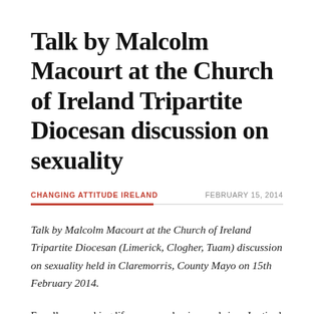Talk by Malcolm Macourt at the Church of Ireland Tripartite Diocesan discussion on sexuality
CHANGING ATTITUDE IRELAND
FEBRUARY 15, 2014
Talk by Malcolm Macourt at the Church of Ireland Tripartite Diocesan (Limerick, Clogher, Tuam) discussion on sexuality held in Claremorris, County Mayo on 15th February 2014.
For all my working life as an academic – and since I retired – I have lived 'across the water', maintaining close links